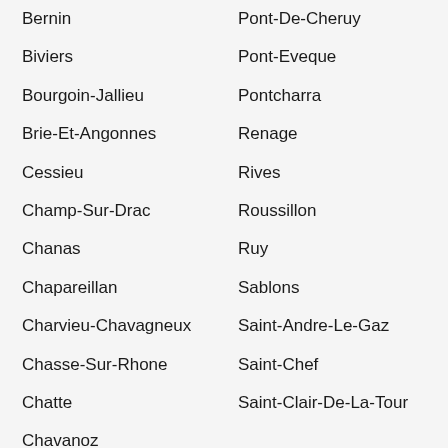Bernin
Pont-De-Cheruy
Biviers
Pont-Eveque
Bourgoin-Jallieu
Pontcharra
Brie-Et-Angonnes
Renage
Cessieu
Rives
Champ-Sur-Drac
Roussillon
Chanas
Ruy
Chapareillan
Sablons
Charvieu-Chavagneux
Saint-Andre-Le-Gaz
Chasse-Sur-Rhone
Saint-Chef
Chatte
Saint-Clair-De-La-Tour
Chavanoz